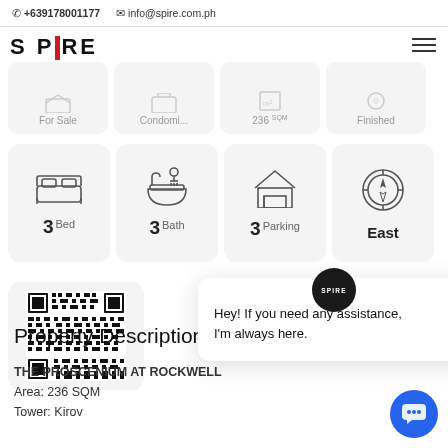+639178001177  info@spire.com.ph
[Figure (logo): SPIRE real estate logo with red vertical bar between P and R]
For Sale   Condomi...   236 SQM   Finished
[Figure (infographic): Property feature icons row: 3 Bed, 3 Bath, 3 Parking, East]
[Figure (infographic): QR code for property listing]
[Figure (screenshot): Chat popup with SPIRE avatar: Hey! If you need any assistance, I'm always here.]
Property Description
THE PROSCENIUM AT ROCKWELL
Area: 236 SQM
Tower: Kirov